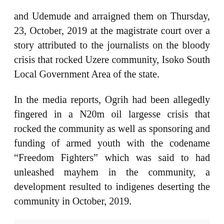and Udemude and arraigned them on Thursday, 23, October, 2019 at the magistrate court over a story attributed to the journalists on the bloody crisis that rocked Uzere community, Isoko South Local Government Area of the state.
In the media reports, Ogrih had been allegedly fingered in a N20m oil largesse crisis that rocked the community as well as sponsoring and funding of armed youth with the codename “Freedom Fighters” which was said to had unleashed mayhem in the community, a development resulted to indigenes deserting the community in October, 2019.
ALSO READ  Igbo s Should Leave Nigeria If — Northern Elders Forum Reiterates